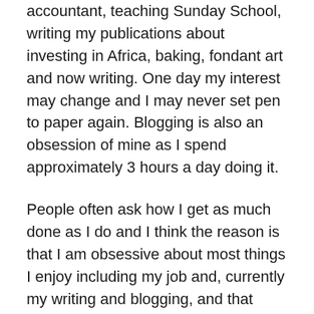accountant, teaching Sunday School, writing my publications about investing in Africa, baking, fondant art and now writing. One day my interest may change and I may never set pen to paper again. Blogging is also an obsession of mine as I spend approximately 3 hours a day doing it.
People often ask how I get as much done as I do and I think the reason is that I am obsessive about most things I enjoy including my job and, currently my writing and blogging, and that results in my focusing completely and with great determination on those particular things. I find time for these things above most other occupations, except my boys who always get my time and attention when they need it.